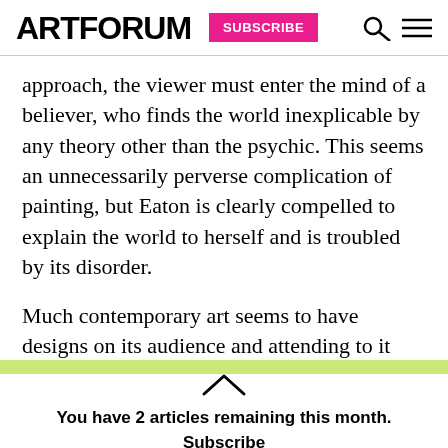ARTFORUM | SUBSCRIBE
approach, the viewer must enter the mind of a believer, who finds the world inexplicable by any theory other than the psychic. This seems an unnecessarily perverse complication of painting, but Eaton is clearly compelled to explain the world to herself and is troubled by its disorder.
Much contemporary art seems to have designs on its audience and attending to it over long is like
You have 2 articles remaining this month. Subscribe for immediate access to this and over five decades of articles from our archives.